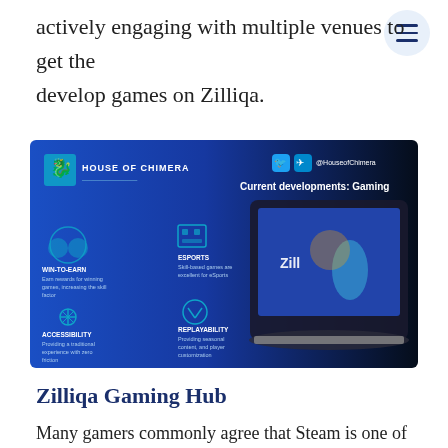actively engaging with multiple venues to get the develop games on Zilliqa.
[Figure (infographic): House of Chimera infographic showing current developments in Gaming. Features Win-to-Earn, eSports, Accessibility, and Replayability sections with icons, alongside a laptop displaying a game with 'Zill' branding. Social media handles @HouseofChimera shown at top right.]
Zilliqa Gaming Hub
Many gamers commonly agree that Steam is one of the